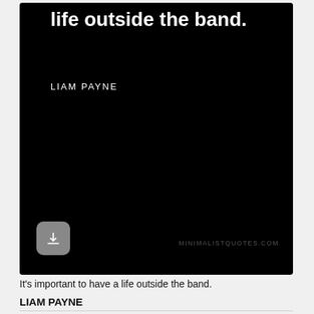[Figure (illustration): Dark black card with white bold text reading 'life outside the band.' and attribution 'LIAM PAYNE' below, a download button bottom-left, and minimalistquotes.com watermark bottom-right]
It's important to have a life outside the band.
LIAM PAYNE